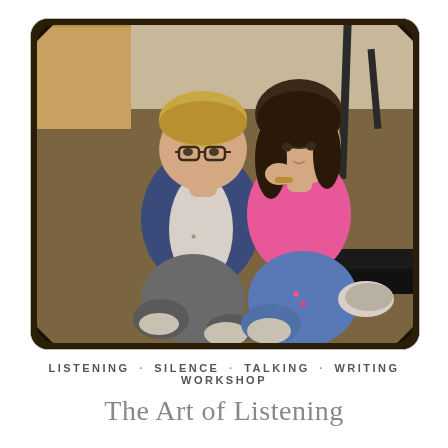[Figure (photo): Two young children sitting on a carpeted classroom floor. A boy with glasses wearing a navy and white long-sleeve shirt and grey pants sits cross-legged on the left. A girl in a pink shirt and jeans with sneakers sits on the right, appearing to whisper or speak closely to the boy. The photo has decorative rounded corners with notched edges.]
LISTENING · SILENCE · TALKING · WRITING WORKSHOP
The Art of Listening